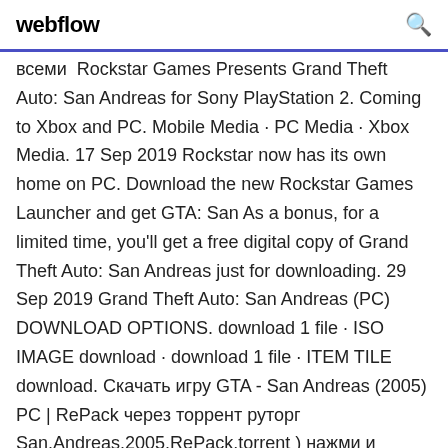webflow
всеми  Rockstar Games Presents Grand Theft Auto: San Andreas for Sony PlayStation 2. Coming to Xbox and PC. Mobile Media · PC Media · Xbox Media. 17 Sep 2019 Rockstar now has its own home on PC. Download the new Rockstar Games Launcher and get GTA: San As a bonus, for a limited time, you'll get a free digital copy of Grand Theft Auto: San Andreas just for downloading. 29 Sep 2019 Grand Theft Auto: San Andreas (PC) DOWNLOAD OPTIONS. download 1 file · ISO IMAGE download · download 1 file · ITEM TILE download. Скачать игру GTA - San Andreas (2005) PC | RePack через торрент руторг San.Andreas.2005.RePack.torrent ) нажми и